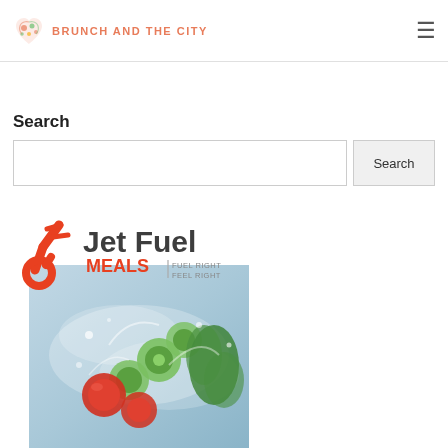BRUNCH AND THE CITY
Search
[Figure (logo): Jet Fuel Meals logo with orange icon and text reading 'Jet Fuel MEALS | FUEL RIGHT FEEL RIGHT']
[Figure (photo): Photo of fresh vegetables including cucumbers, tomatoes, and greens splashing in water]